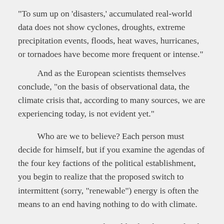“To sum up on ‘disasters,’ accumulated real-world data does not show cyclones, droughts, extreme precipitation events, floods, heat waves, hurricanes, or tornadoes have become more frequent or intense.”
And as the European scientists themselves conclude, “on the basis of observational data, the climate crisis that, according to many sources, we are experiencing today, is not evident yet.”
Who are we to believe? Each person must decide for himself, but if you examine the agendas of the four key factions of the political establishment, you begin to realize that the proposed switch to intermittent (sorry, “renewable”) energy is often the means to an end having nothing to do with climate.
First, numerous political leaders have explicitly